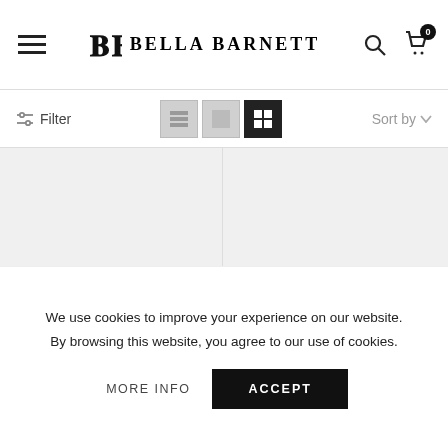BELLA BARNETT
Filter | Sort by
[Figure (screenshot): Product image placeholder for Stella Dress - Pink, light gray background]
[Figure (screenshot): Product image placeholder for Mimia One Shoulder Chain Mini Cocktail Dress, light gray background]
S, M, L, XL
Stella Dress - Pink
$59.90
XS, M, L
Mimia One Shoulder Chain Mini Cocktail Dress
We use cookies to improve your experience on our website.
By browsing this website, you agree to our use of cookies.
MORE INFO
ACCEPT